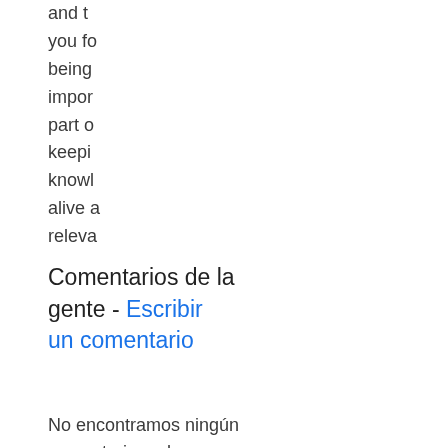and t... you fo... being... impor... part o... keepi... knowl... alive a... releva...
Comentarios de la gente - Escribir un comentario
No encontramos ningún comentario en los lugares habituales.
Otras ediciones - Ver todas